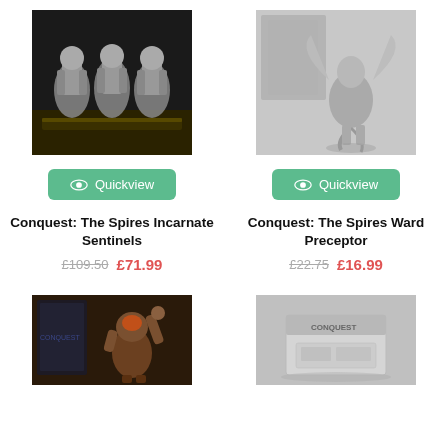[Figure (photo): Product photo: Conquest The Spires Incarnate Sentinels miniatures - color photo showing multiple armored warrior figurines on bases]
[Figure (photo): Product photo: Conquest The Spires Ward Preceptor miniature - grayscale photo of a winged creature figurine]
Quickview
Quickview
Conquest: The Spires Incarnate Sentinels
£109.50  £71.99
Conquest: The Spires Ward Preceptor
£22.75  £16.99
[Figure (photo): Product photo: Conquest miniature - color photo showing an orc/troll type character figurine with raised arm]
[Figure (photo): Product photo: Conquest product box - grayscale photo showing game box packaging]